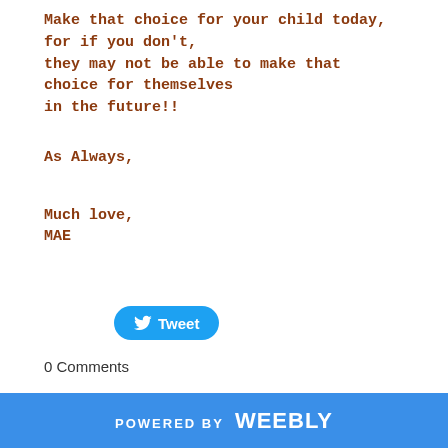Make that choice for your child today, for if you don't, they may not be able to make that choice for themselves in the future!!
As Always,
Much love,
MAE
[Figure (other): Tweet button with Twitter bird icon]
0 Comments
Your comment will be posted after it is approved.
POWERED BY weebly